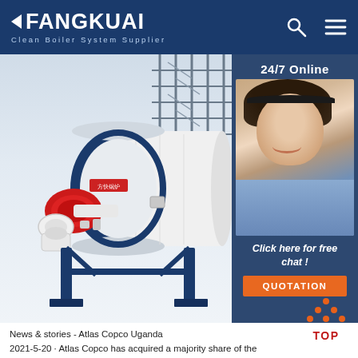FANGKUAI - Clean Boiler System Supplier
[Figure (photo): Industrial boiler unit with red front burner assembly, white cylindrical body with blue steel frame and supports, mounted on blue legs. Background shows steel scaffolding structure. Side panel shows customer service agent with headset, 24/7 Online label, 'Click here for free chat!' text and orange QUOTATION button.]
[Figure (logo): TOP scroll-to-top icon with orange dots forming an upward triangle above red 'TOP' text]
News & stories - Atlas Copco Uganda
2021-5-20 · Atlas Copco has acquired a majority share of the specialty rental company Eco Steam and Heating Solutions. May 3